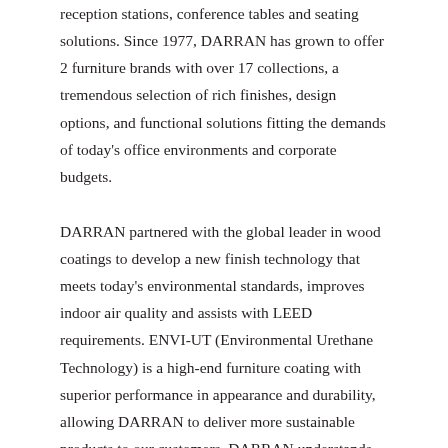reception stations, conference tables and seating solutions. Since 1977, DARRAN has grown to offer 2 furniture brands with over 17 collections, a tremendous selection of rich finishes, design options, and functional solutions fitting the demands of today's office environments and corporate budgets.
DARRAN partnered with the global leader in wood coatings to develop a new finish technology that meets today's environmental standards, improves indoor air quality and assists with LEED requirements. ENVI-UT (Environmental Urethane Technology) is a high-end furniture coating with superior performance in appearance and durability, allowing DARRAN to deliver more sustainable products to our customers. DARRAN understands the importance of high performance top/clear coat protection